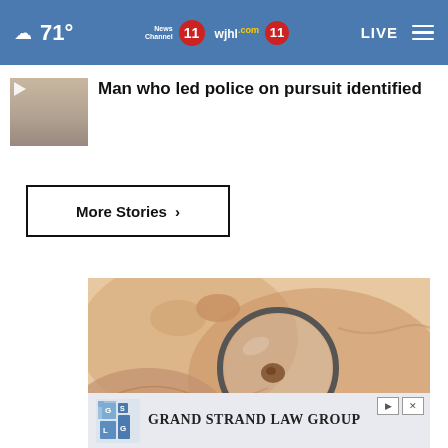71° News Channel 11 wjhl.com 11 LIVE
Man who led police on pursuit identified
More Stories ›
[Figure (photo): Close-up medical photo of hands holding skin with a mole under a magnifying glass, with a dark close button overlay]
[Figure (logo): Grand Strand Law Group advertisement banner with GSLG logo and text 'Grand Strand Law Group']